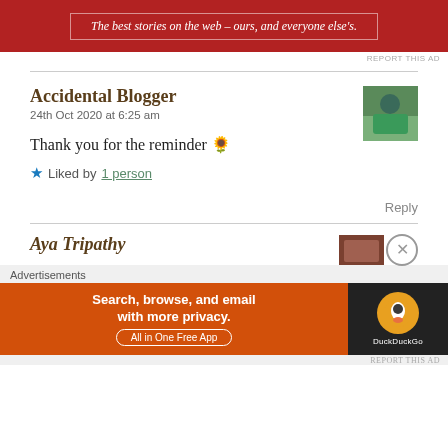[Figure (screenshot): Red advertisement banner with white italic text: 'The best stories on the web – ours, and everyone else's.']
REPORT THIS AD
Accidental Blogger
24th Oct 2020 at 6:25 am
[Figure (photo): Avatar photo of Accidental Blogger showing person in teal shirt from behind in a garden setting]
Thank you for the reminder 🌻
★ Liked by 1 person
Reply
Aya Tripathy
[Figure (photo): Partial avatar photo of Aya Tripathy]
Advertisements
[Figure (screenshot): DuckDuckGo advertisement: orange background with text 'Search, browse, and email with more privacy. All in One Free App' and DuckDuckGo logo on dark background]
REPORT THIS AD